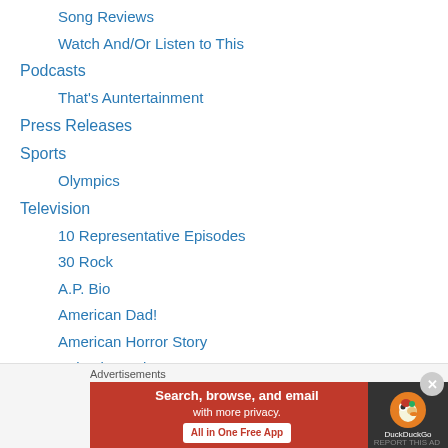Song Reviews
Watch And/Or Listen to This
Podcasts
That's Auntertainment
Press Releases
Sports
Olympics
Television
10 Representative Episodes
30 Rock
A.P. Bio
American Dad!
American Horror Story
Animal Practice
Archer
Arrested Development
[Figure (screenshot): DuckDuckGo advertisement banner: 'Search, browse, and email with more privacy. All in One Free App' with DuckDuckGo logo on dark background]